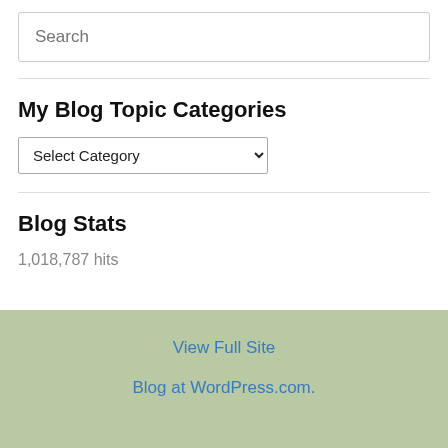Search
My Blog Topic Categories
Select Category
Blog Stats
1,018,787 hits
View Full Site
Blog at WordPress.com.